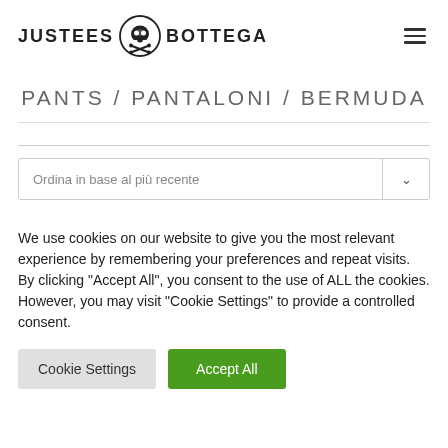[Figure (logo): Justees Bottega logo with skull and crossbones icon in a circle between the two words]
PANTS / PANTALONI / BERMUDA
Ordina in base al più recente
We use cookies on our website to give you the most relevant experience by remembering your preferences and repeat visits. By clicking "Accept All", you consent to the use of ALL the cookies. However, you may visit "Cookie Settings" to provide a controlled consent.
Cookie Settings
Accept All